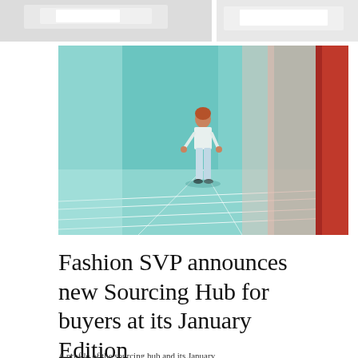[Figure (photo): Partial view of a product/object photo strip at the top of the page, showing two cropped images side by side with a white gap between them]
[Figure (photo): Fashion photograph of a person standing in a colorful room with teal/turquoise walls and floor with white lines, and a red vertical stripe on the right side. The person is wearing white/light blue clothing.]
Fashion SVP announces new Sourcing Hub for buyers at its January Edition
A profile of the sourcing hub and its January